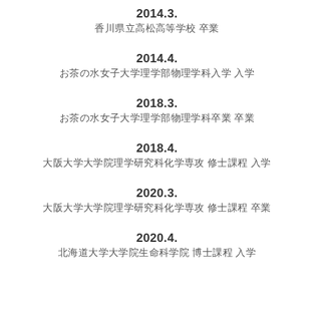2014.3.
香川県立高松高等学校 卒業
2014.4.
お茶の水女子大学理学部物理学科入学 入学
2018.3.
お茶の水女子大学理学部物理学科卒業 卒業
2018.4.
大阪大学大学院理学研究科化学専攻 修士課程 入学
2020.3.
大阪大学大学院理学研究科化学専攻 修士課程 卒業
2020.4.
北海道大学大学院生命科学院 博士課程 入学